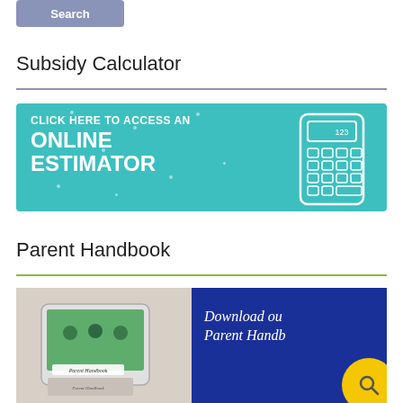[Figure (screenshot): Search button with gray-blue background]
Subsidy Calculator
[Figure (infographic): Teal banner with white text reading CLICK HERE TO ACCESS AN ONLINE ESTIMATOR with a calculator illustration on the right]
Parent Handbook
[Figure (infographic): Two-panel banner: left panel shows a tablet with children image and Parent Handbook text; right panel is dark blue with italic white text reading Download our Parent Handbook and a yellow circle with search icon]